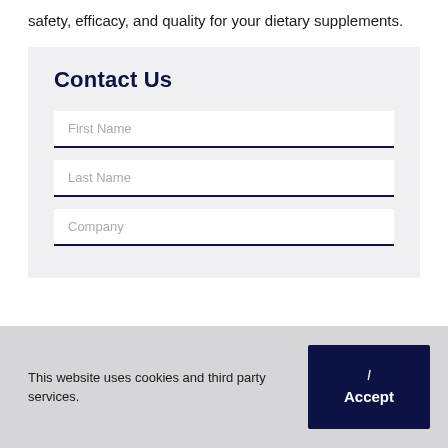safety, efficacy, and quality for your dietary supplements.
Contact Us
First Name
Last Name
Company
This website uses cookies and third party services.
I Accept